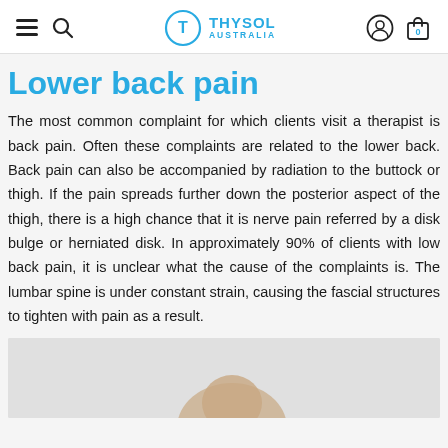Thysol Australia
Lower back pain
The most common complaint for which clients visit a therapist is back pain. Often these complaints are related to the lower back. Back pain can also be accompanied by radiation to the buttock or thigh. If the pain spreads further down the posterior aspect of the thigh, there is a high chance that it is nerve pain referred by a disk bulge or herniated disk. In approximately 90% of clients with low back pain, it is unclear what the cause of the complaints is. The lumbar spine is under constant strain, causing the fascial structures to tighten with pain as a result.
[Figure (photo): Partial photo of a person, shown from lower portion, appearing at the bottom of the page]